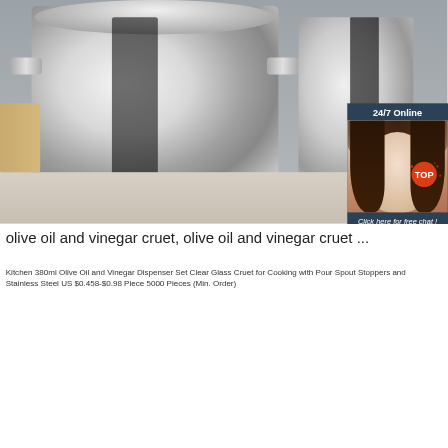[Figure (photo): Stainless steel stock pot with glass lid on a wooden surface, second pot visible in background, asparagus on plate to the left. Overlay chat widget in top-right showing a customer service agent with '24/7 Online' header, 'Click here for free chat!' text, and an orange QUOTATION button. Red/orange TOP watermark badge in lower right.]
olive oil and vinegar cruet, olive oil and vinegar cruet ...
Kitchen 380ml Olive Oil and Vinegar Dispenser Set Clear Glass Cruet for Cooking with Pour Spout Stoppers and Stainless Steel US $0.458-$0.98 Piece 5000 Pieces (Min. Order)